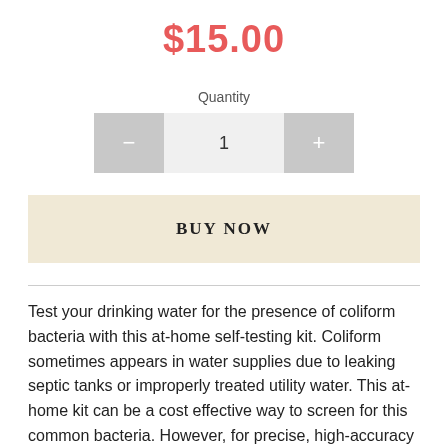$15.00
Quantity
[Figure (other): Quantity stepper control with minus button, value of 1, and plus button]
[Figure (other): BUY NOW button with beige/cream background]
Test your drinking water for the presence of coliform bacteria with this at-home self-testing kit. Coliform sometimes appears in water supplies due to leaking septic tanks or improperly treated utility water. This at-home kit can be a cost effective way to screen for this common bacteria. However, for precise, high-accuracy testing, we recommend an in-lab testing package.